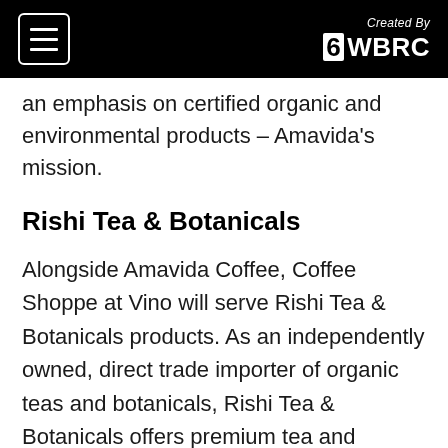Created By 6WBRC
an emphasis on certified organic and environmental products – Amavida's mission.
Rishi Tea & Botanicals
Alongside Amavida Coffee, Coffee Shoppe at Vino will serve Rishi Tea & Botanicals products. As an independently owned, direct trade importer of organic teas and botanicals, Rishi Tea & Botanicals offers premium tea and botanicals imported directly from gardens across the world. From its beginning over 20 years ago to becoming an established leader in the specialty tea market, its mission has never wavered – commitment to